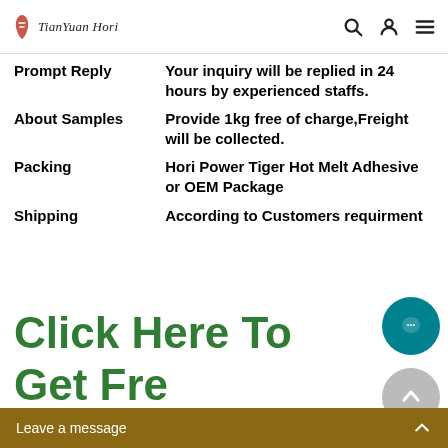TianYuan Hori
|  |  |
| --- | --- |
| Prompt Reply | Your inquiry will be replied in 24 hours by experienced staffs. |
| About Samples | Provide 1kg free of charge,Freight will be collected. |
| Packing | Hori Power Tiger Hot Melt Adhesive or OEM Package |
| Shipping | According to Customers requirment |
Click Here To Get Free Sample
Leave a message